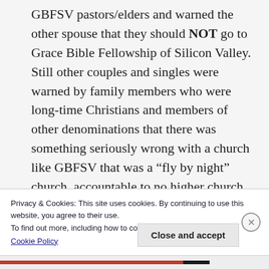GBFSV pastors/elders and warned the other spouse that they should NOT go to Grace Bible Fellowship of Silicon Valley. Still other couples and singles were warned by family members who were long-time Christians and members of other denominations that there was something seriously wrong with a church like GBFSV that was a “fly by night” church, accountable to no higher church authorities. Their dire warnings proved to be accurate about this sick, abusive church led
Privacy & Cookies: This site uses cookies. By continuing to use this website, you agree to their use.
To find out more, including how to control cookies, see here:
Cookie Policy
Close and accept